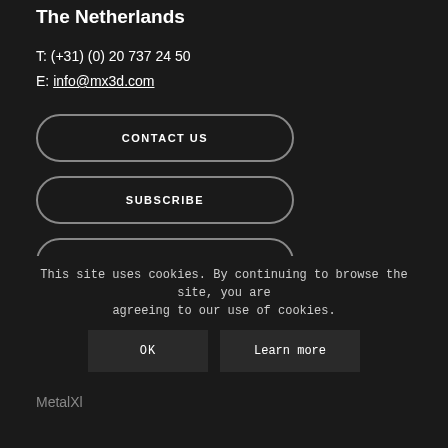The Netherlands
T: (+31) (0) 20 737 24 50
E: info@mx3d.com
CONTACT US
SUBSCRIBE
PRIVACY POLICY
FOLLOW US
[Figure (other): Social media icons: Facebook, Instagram, Pinterest]
SERVICES
MetalXl
This site uses cookies. By continuing to browse the site, you are agreeing to our use of cookies.
OK
Learn more